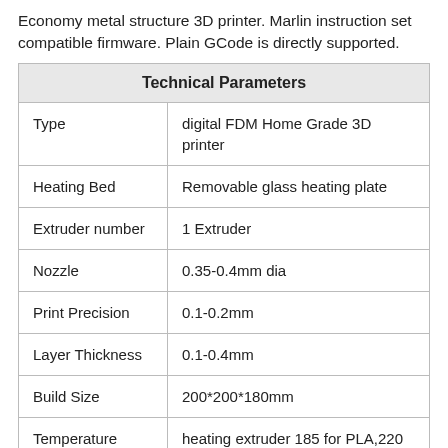Economy metal structure 3D printer. Marlin instruction set compatible firmware. Plain GCode is directly supported.
| Technical Parameters |  |
| --- | --- |
| Type | digital FDM Home Grade 3D printer |
| Heating Bed | Removable glass heating plate |
| Extruder number | 1 Extruder |
| Nozzle | 0.35-0.4mm dia |
| Print Precision | 0.1-0.2mm |
| Layer Thickness | 0.1-0.4mm |
| Build Size | 200*200*180mm |
| Temperature | heating extruder 185 for PLA,220 for ABS; heating platform 85 for ABS,N/A for PLA |